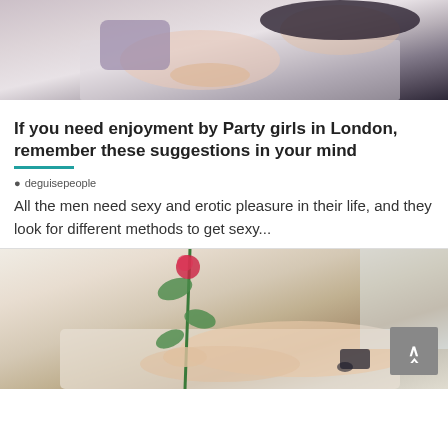[Figure (photo): Woman in black lingerie lying on a bed with light gray sheets and a purple pillow]
If you need enjoyment by Party girls in London, remember these suggestions in your mind
deguisepeople
All the men need sexy and erotic pleasure in their life, and they look for different methods to get sexy...
[Figure (photo): Woman in lingerie lying on a couch holding a rose, with a back-to-top button overlay]